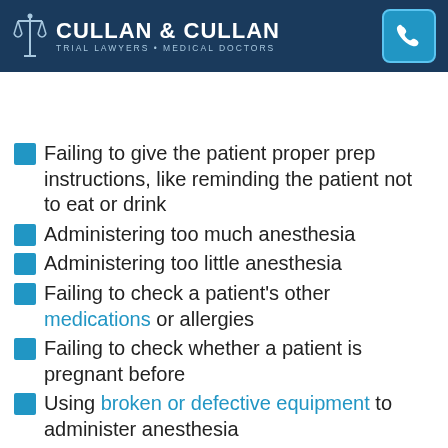CULLAN & CULLAN TRIAL LAWYERS • MEDICAL DOCTORS
Attorneys | Results | Contact | More
Failing to give the patient proper prep instructions, like reminding the patient not to eat or drink
Administering too much anesthesia
Administering too little anesthesia
Failing to check a patient's other medications or allergies
Failing to check whether a patient is pregnant before
Using broken or defective equipment to administer anesthesia
Using not to be found for this medications or fluid